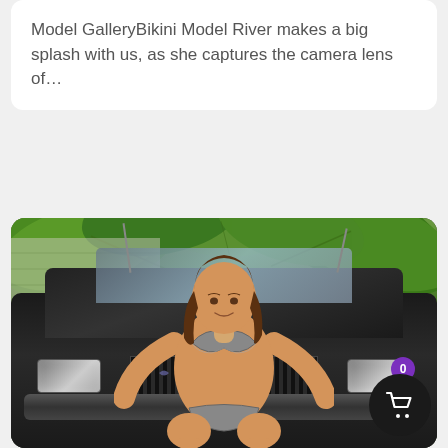Model GalleryBikini Model River makes a big splash with us, as she captures the camera lens of...
[Figure (photo): A woman in a bikini posing in front of a classic dark-colored car, with tropical green foliage in the background. A shopping cart button with badge showing '0' is overlaid in the bottom right corner.]